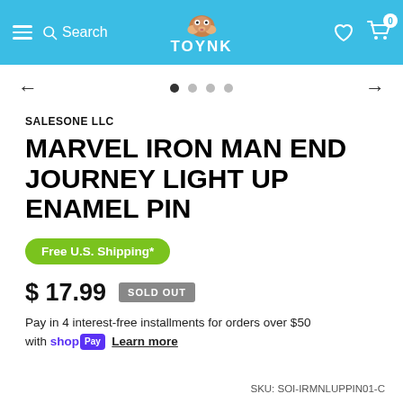TOYNK — Search | Hamburger menu | Cart (0)
[Figure (screenshot): Carousel navigation with left arrow, 4 dots (first active), right arrow]
SALESONE LLC
MARVEL IRON MAN END JOURNEY LIGHT UP ENAMEL PIN
Free U.S. Shipping*
$ 17.99  SOLD OUT
Pay in 4 interest-free installments for orders over $50 with shop Pay  Learn more
SKU: SOI-IRMNLUPPIN01-C